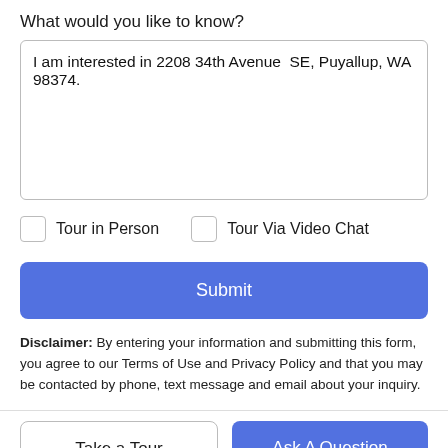What would you like to know?
I am interested in 2208 34th Avenue SE, Puyallup, WA 98374.
Tour in Person
Tour Via Video Chat
Submit
Disclaimer: By entering your information and submitting this form, you agree to our Terms of Use and Privacy Policy and that you may be contacted by phone, text message and email about your inquiry.
Take a Tour
Ask A Question